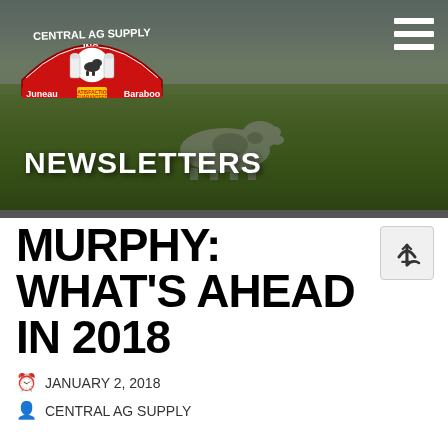[Figure (photo): Header banner showing a pastoral scene with cows grazing in a green field, overcast sky in background. Central Ag Supply Inc. logo in top left with 'Juneau' and 'Baraboo' text. Hamburger menu icon in top right. 'NEWSLETTERS' text overlay at bottom left.]
MURPHY: WHAT'S AHEAD IN 2018
JANUARY 2, 2018
CENTRAL AG SUPPLY